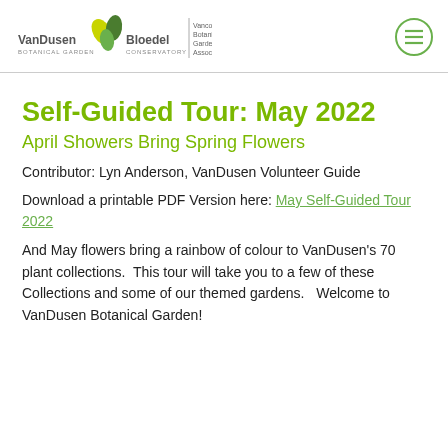VanDusen Botanical Garden | Bloedel Conservatory — Vancouver Botanical Gardens Association
Self-Guided Tour: May 2022
April Showers Bring Spring Flowers
Contributor: Lyn Anderson, VanDusen Volunteer Guide
Download a printable PDF Version here: May Self-Guided Tour 2022
And May flowers bring a rainbow of colour to VanDusen's 70 plant collections.  This tour will take you to a few of these Collections and some of our themed gardens.   Welcome to VanDusen Botanical Garden!Please prepare yourself as We'll...